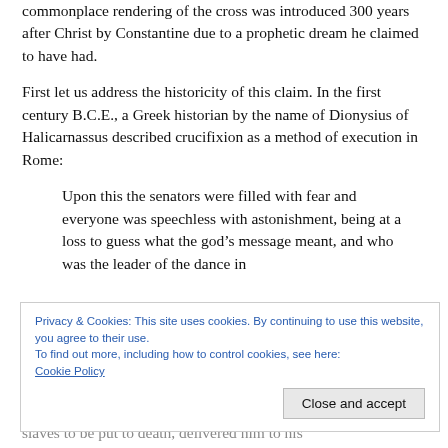commonplace rendering of the cross was introduced 300 years after Christ by Constantine due to a prophetic dream he claimed to have had.
First let us address the historicity of this claim. In the first century B.C.E., a Greek historian by the name of Dionysius of Halicarnassus described crucifixion as a method of execution in Rome:
Upon this the senators were filled with fear and everyone was speechless with astonishment, being at a loss to guess what the god’s message meant, and who was the leader of the dance in
Privacy & Cookies: This site uses cookies. By continuing to use this website, you agree to their use.
To find out more, including how to control cookies, see here:
Cookie Policy
Close and accept
slaves to be put to death, delivered him to his